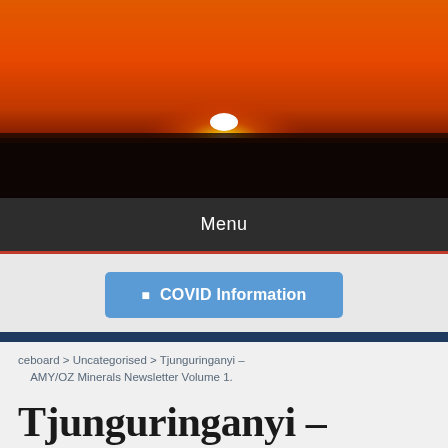[Figure (photo): Sunset landscape photo showing a glowing orange and red sky with a bright white sun near the horizon, dark silhouetted land in the foreground]
Menu
COVID Information
ceboard > Uncategorised > Tjunguringanyi – AMY/OZ Minerals Newsletter Volume 1.
Tjunguringanyi – AMY/OZ Minerals Newsletter